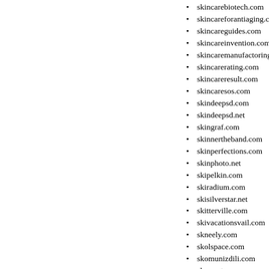skincarebiotech.com
skincareforantiaging.com
skincareguides.com
skincareinvention.com
skincaremanufactoring.com
skincarerating.com
skincareresult.com
skincaresos.com
skindeepsd.com
skindeepsd.net
skingraf.com
skinnertheband.com
skinperfections.com
skinphoto.net
skipelkin.com
skiradium.com
skisilverstar.net
skitterville.com
skivacationsvail.com
skneely.com
skolspace.com
skomunizdili.com
skormetre.com
skrita-igra.net
skullak.com
skullnecklesses.com
sky-share.com
skybarinternational.com